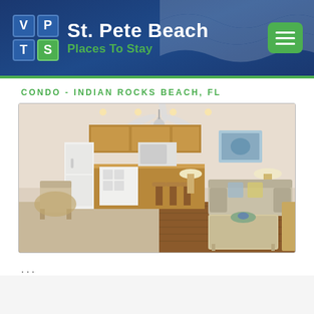St. Pete Beach Places To Stay
CONDO - INDIAN ROCKS BEACH, FL
[Figure (photo): Interior photo of a condo living room and kitchen area with hardwood floors, ceiling fan, striped sofa, coffee table with flowers, kitchen with bar stools, and white appliances.]
...